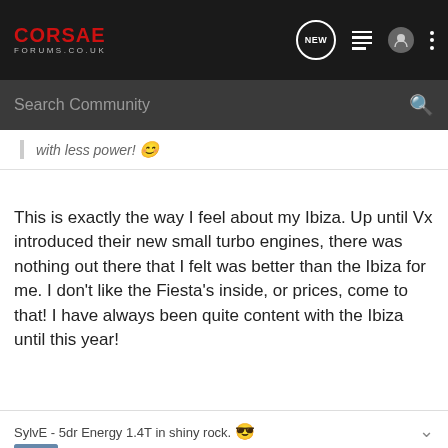CORSAE FORUMS.CO.UK — navigation bar with NEW, list, user, and menu icons
Search Community
with less power! 😊
This is exactly the way I feel about my Ibiza. Up until Vx introduced their new small turbo engines, there was nothing out there that I felt was better than the Ibiza for me. I don't like the Fiesta's inside, or prices, come to that! I have always been quite content with the Ibiza until this year!
SylvE - 5dr Energy 1.4T in shiny rock. 😎
FUELLY
1 - 16 of 16 Posts